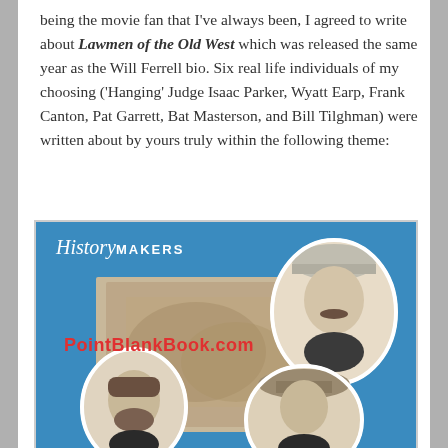being the movie fan that I've always been, I agreed to write about Lawmen of the Old West which was released the same year as the Will Ferrell bio. Six real life individuals of my choosing ('Hanging' Judge Isaac Parker, Wyatt Earp, Frank Canton, Pat Garrett, Bat Masterson, and Bill Tilghman) were written about by yours truly within the following theme:
[Figure (illustration): Book cover for 'History Makers: Lawmen of the Old West' showing a blue background with oval portrait photographs of Old West lawmen including Wyatt Earp and others, with a battle scene in the background. A watermark reads PointBlankBook.com in red.]